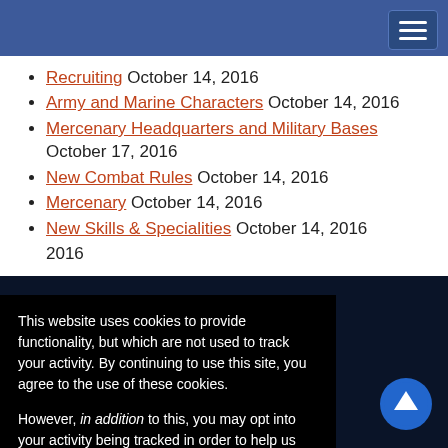Recruiting October 14, 2016
Army and Marine Characters October 14, 2016
Mercenary Headquarters and Military Bases October 17, 2016
New Combat Rules October 14, 2016
Mercenary October 14, 2016
New Skills & Specialities October 14, 2016
2016
This website uses cookies to provide functionality, but which are not used to track your activity. By continuing to use this site, you agree to the use of these cookies.

However, in addition to this, you may opt into your activity being tracked in order to help us improve our service.

For more information, please click here
OK   No, thank you